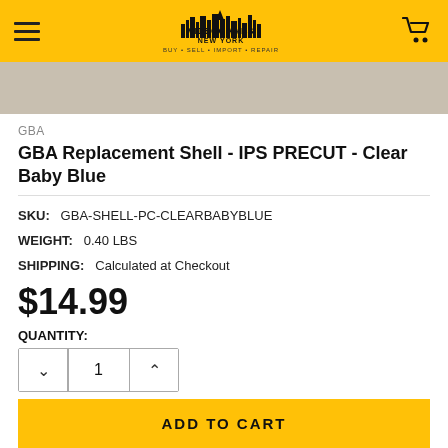Video Games New York — BUY • SELL • IMPORT • REPAIR
[Figure (photo): Partial product image showing light tan/beige background, cropped at top of page]
GBA
GBA Replacement Shell - IPS PRECUT - Clear Baby Blue
SKU: GBA-SHELL-PC-CLEARBABYBLUE
WEIGHT: 0.40 LBS
SHIPPING: Calculated at Checkout
$14.99
QUANTITY:
ADD TO CART